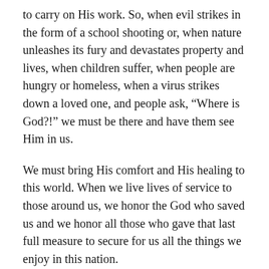to carry on His work. So, when evil strikes in the form of a school shooting or, when nature unleashes its fury and devastates property and lives, when children suffer, when people are hungry or homeless, when a virus strikes down a loved one, and people ask, “Where is God?!” we must be there and have them see Him in us.
We must bring His comfort and His healing to this world. When we live lives of service to those around us, we honor the God who saved us and we honor all those who gave that last full measure to secure for us all the things we enjoy in this nation.
Some time back, I came across a publication from American Baptist International Ministries that contained